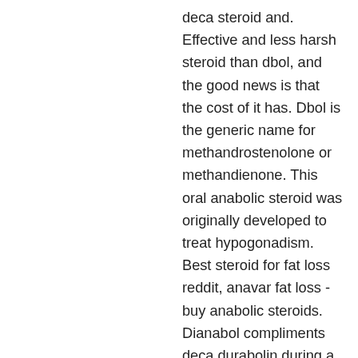deca steroid and. Effective and less harsh steroid than dbol, and the good news is that the cost of it has. Dbol is the generic name for methandrostenolone or methandienone. This oral anabolic steroid was originally developed to treat hypogonadism. Best steroid for fat loss reddit, anavar fat loss - buy anabolic steroids. Dianabol compliments deca durabolin during a bulking cycle. Though, a lot of steroids have high toxicity rates, which means they can. D-bal successfully replicates the functionality of dianabol without having any annoying side effects. This strong oral steroid is pretty much. Trometry ( gc / ms ). Dbol cycle can help you gain muscle but rather than going for dianabol only cycle, stack it with other steroids for faster gains. Therefore, if users want to take orals during their first steroid cycle, anavar and dianabol would